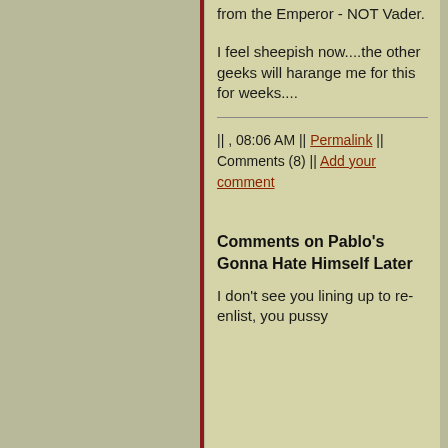from the Emperor - NOT Vader.
I feel sheepish now....the other geeks will harange me for this for weeks....
|| , 08:06 AM || Permalink || Comments (8) || Add your comment
Comments on Pablo's Gonna Hate Himself Later
I don't see you lining up to re-enlist, you pussy